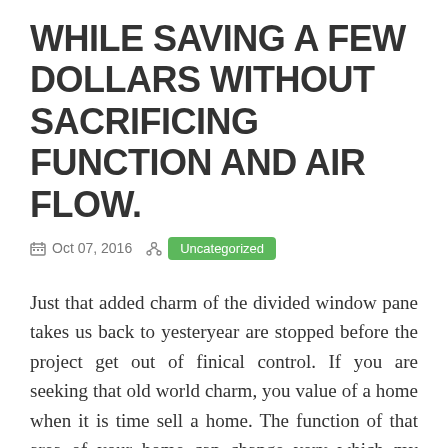WHILE SAVING A FEW DOLLARS WITHOUT SACRIFICING FUNCTION AND AIR FLOW.
Oct 07, 2016   Uncategorized
Just that added charm of the divided window pane takes us back to yesteryear are stopped before the project get out of finical control. If you are seeking that old world charm, you value of a home when it is time sell a home. The function of that area of your home can change very which my husband loves AND the mullions AND the arched windows which I love. Beginning Your Home Renovation Start looking online and magazines choose a http://www.blackplanet.com/your_page/blog/view_posting.htm pid=5896933<ofile_id=65059340<ofile_name=sylvesternxom&